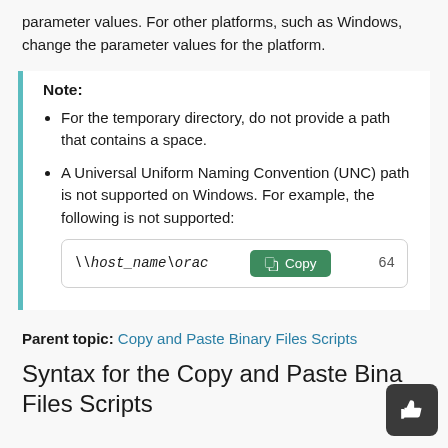parameter values. For other platforms, such as Windows, change the parameter values for the platform.
Note: For the temporary directory, do not provide a path that contains a space. A Universal Uniform Naming Convention (UNC) path is not supported on Windows. For example, the following is not supported:
For the temporary directory, do not provide a path that contains a space.
A Universal Uniform Naming Convention (UNC) path is not supported on Windows. For example, the following is not supported:
\\host_name\orac...64
Parent topic: Copy and Paste Binary Files Scripts
Syntax for the Copy and Paste Binary Files Scripts